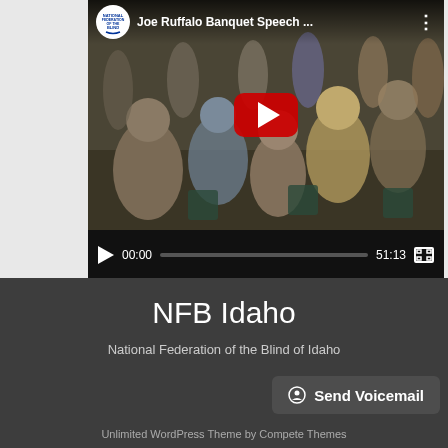[Figure (screenshot): YouTube video player showing 'Joe Ruffalo Banquet Speech ...' with a red play button overlay, timestamp 00:00 / 51:13, and a crowd scene thumbnail. NFB (National Federation of the Blind) logo in top-left corner.]
[Figure (screenshot): Half-circle contrast toggle button icon on left side]
NFB Idaho
National Federation of the Blind of Idaho
Send Voicemail
Unlimited WordPress Theme by Compete Themes